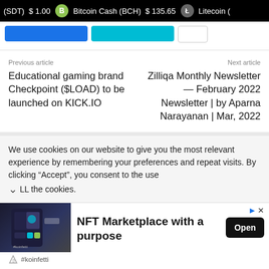(SDT) $1.00  Bitcoin Cash (BCH) $135.65  Litecoin (
Previous article
Educational gaming brand Checkpoint ($LOAD) to be launched on KICK.IO
Next article
Zilliqa Monthly Newsletter — February 2022 Newsletter | by Aparna Narayanan | Mar, 2022
We use cookies on our website to give you the most relevant experience by remembering your preferences and repeat visits. By clicking “Accept”, you consent to the use of ALL the cookies.
[Figure (infographic): Advertisement for koinfetti NFT Marketplace with a purpose, showing app screenshot on dark background]
NFT Marketplace with a purpose
#koinfetti